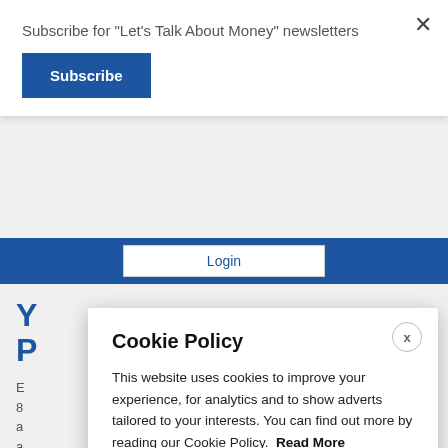Subscribe for "Let's Talk About Money" newsletters
Subscribe
Login
Y
P
E
8
a
a
L
m
ensuring your debt does not remain outstanding, subject to our terms and conditions.
Cookie Policy
This website uses cookies to improve your experience, for analytics and to show adverts tailored to your interests. You can find out more by reading our Cookie Policy.
Read More
Reject
Accept and close